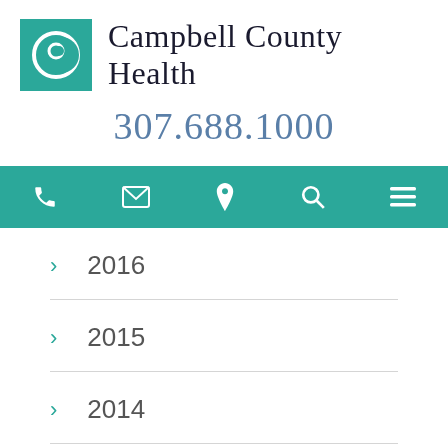[Figure (logo): Campbell County Health logo: teal square with crescent moon/C symbol and organization name]
Campbell County Health
307.688.1000
[Figure (infographic): Teal navigation bar with icons: phone, envelope, location pin, search, hamburger menu]
> 2016
> 2015
> 2014
> 2013
> 2013